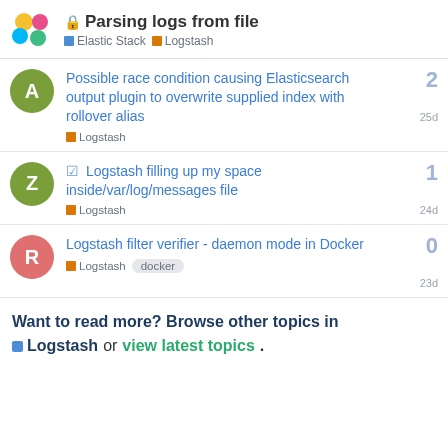Parsing logs from file — Elastic Stack / Logstash
Possible race condition causing Elasticsearch output plugin to overwrite supplied index with rollover alias — Logstash — 25d — 2 replies
Logstash filling up my space inside/var/log/messages file — Logstash — 24d — 1 reply
Logstash filter verifier - daemon mode in Docker — Logstash, docker — 23d — 0 replies
Want to read more? Browse other topics in Logstash or view latest topics.